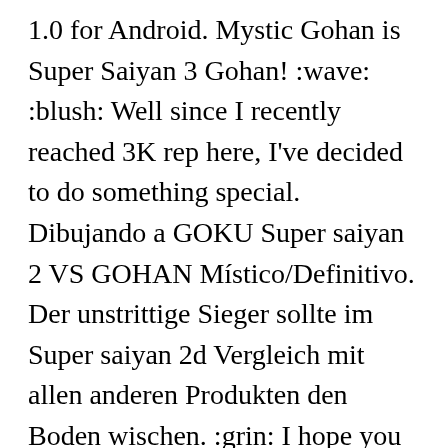1.0 for Android. Mystic Gohan is Super Saiyan 3 Gohan! :wave: :blush: Well since I recently reached 3K rep here, I've decided to do something special. Dibujando a GOKU Super saiyan 2 VS GOHAN Místico/Definitivo. Der unstrittige Sieger sollte im Super saiyan 2d Vergleich mit allen anderen Produkten den Boden wischen. :grin: I hope you all like it: Goku: You're going to love this. How to draw Gohan Super Saiyan from the anime Dragon ball Z\r\rSquare Size: 3CM\r\rspecific colors I used: \r\r\r Subscribe: \r Facebook :\r Instagram: \r\r\r**Materials:\r\rCopic Markers Ciao set A + B (144 markers ordered from E-bay)\r-Mechanical pencil -Pilot